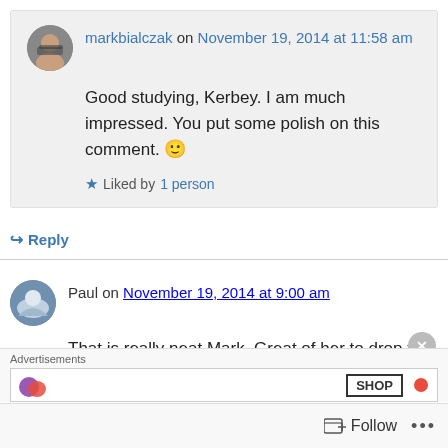markbialczak on November 19, 2014 at 11:58 am
Good studying, Kerbey. I am much impressed. You put some polish on this comment. 🙂
Liked by 1 person
Reply
Paul on November 19, 2014 at 9:00 am
That is really neat Mark. Great of her to drop you
Advertisements
SHOP
Follow